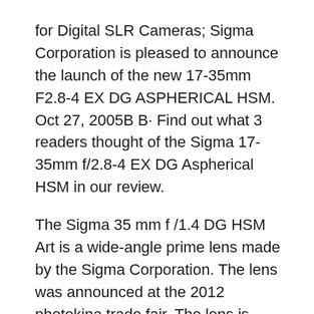for Digital SLR Cameras; Sigma Corporation is pleased to announce the launch of the new 17-35mm F2.8-4 EX DG ASPHERICAL HSM. Oct 27, 2005B B· Find out what 3 readers thought of the Sigma 17-35mm f/2.8-4 EX DG Aspherical HSM in our review.
The Sigma 35 mm f/1.4 DG HSM Art is a wide-angle prime lens made by the Sigma Corporation. The lens was announced at the 2012 photokina trade fair. The lens is produced in Canon EF mount, Nikon F-mount, Pentax K mount, Sigma's own SA mount, and the Sony/Minolta AF вЂ¦ Mixing a useful zoom range with a sophisticated design, the Nikon F-mount Sigma 17-70mm f/2.8-4 DC Macro OS HSM is a